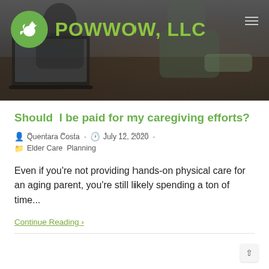[Figure (screenshot): Website header of Powwow LLC with a green circular logo featuring a rooster/chicken icon, the text POWWOW, LLC in green, and a dark background showing two people at a table with a laptop.]
Should I be paid for my caregiving efforts?
Quentara Costa  -  July 12, 2020  -  Elder Care Planning
Even if you're not providing hands-on physical care for an aging parent, you're still likely spending a ton of time...
Continue Reading >